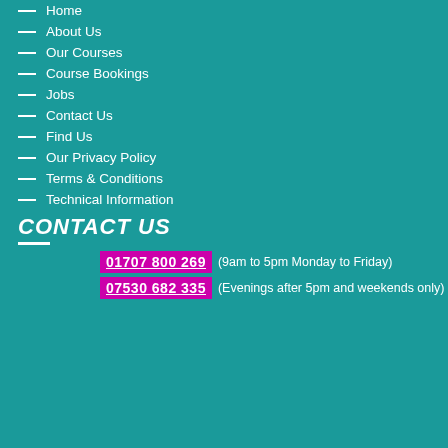— Home
— About Us
— Our Courses
— Course Bookings
— Jobs
— Contact Us
— Find Us
— Our Privacy Policy
— Terms & Conditions
— Technical Information
CONTACT US
01707 800 269 (9am to 5pm Monday to Friday)
07530 682 335 (Evenings after 5pm and weekends only)